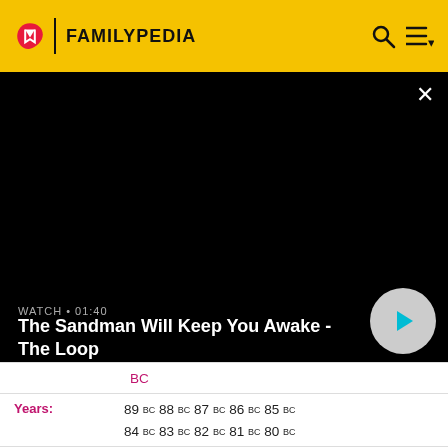FAMILYPEDIA
[Figure (screenshot): Video player panel with black background showing title 'The Sandman Will Keep You Awake - The Loop', watch time 01:40, and a play button]
BC
Years: 89 BC 88 BC 87 BC 86 BC 85 BC 84 BC 83 BC 82 BC 81 BC 80 BC
Categories: Births - Deaths - State leaders - Sovereign states Establishments - Disestablishments